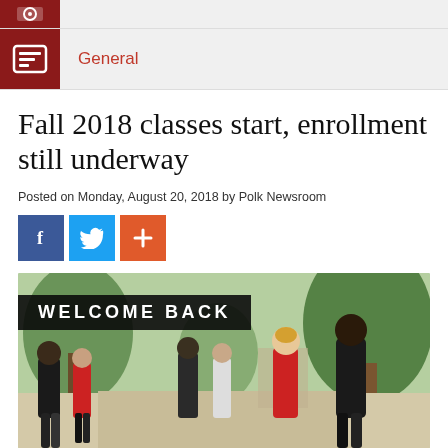[Figure (logo): Small red logo bar at top]
General
Fall 2018 classes start, enrollment still underway
Posted on Monday, August 20, 2018 by Polk Newsroom
[Figure (infographic): Social media sharing buttons: Facebook (blue), Twitter (light blue), Plus/share (orange)]
[Figure (photo): Students walking on campus with a WELCOME BACK banner overlay. Several students in casual clothing, trees in background.]